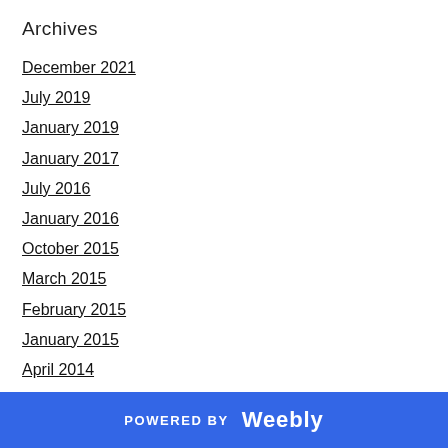Archives
December 2021
July 2019
January 2019
January 2017
July 2016
January 2016
October 2015
March 2015
February 2015
January 2015
April 2014
December 2013
November 2013
October 2013
September 2013
POWERED BY weebly